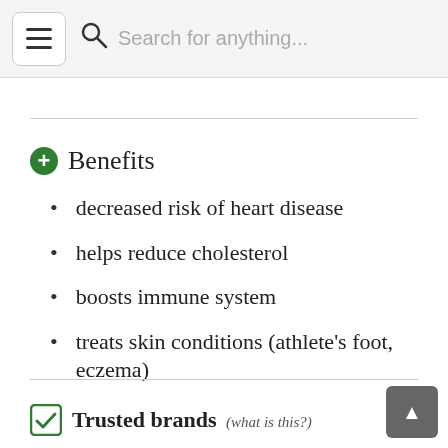Search for anything...
Benefits
decreased risk of heart disease
helps reduce cholesterol
boosts immune system
treats skin conditions (athlete's foot, eczema)
Trusted brands (what is this?)